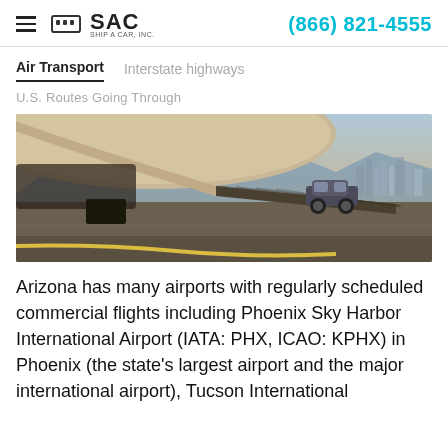SAC SHIP A CAR, INC. | (866) 821-4555
Air Transport  Interstate highways
U.S. Routes Going Through
[Figure (photo): A car being loaded into the cargo hold of a large aircraft on a tarmac, with mountains and a city skyline visible in the background.]
Arizona has many airports with regularly scheduled commercial flights including Phoenix Sky Harbor International Airport (IATA: PHX, ICAO: KPHX) in Phoenix (the state's largest airport and the major international airport), Tucson International